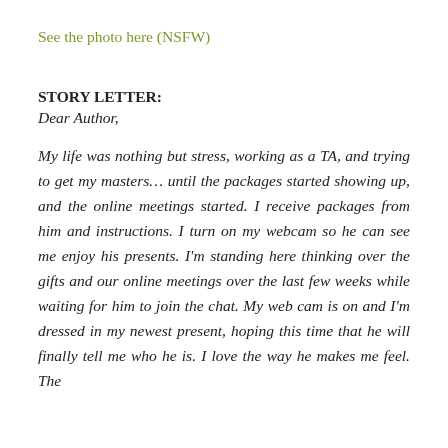See the photo here (NSFW)
STORY LETTER:
Dear Author,
My life was nothing but stress, working as a TA, and trying to get my masters... until the packages started showing up, and the online meetings started. I receive packages from him and instructions. I turn on my webcam so he can see me enjoy his presents. I'm standing here thinking over the gifts and our online meetings over the last few weeks while waiting for him to join the chat. My web cam is on and I'm dressed in my newest present, hoping this time that he will finally tell me who he is. I love the way he makes me feel. The